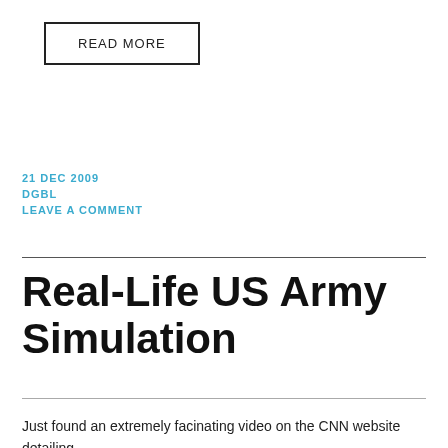READ MORE
21 DEC 2009
DGBL
LEAVE A COMMENT
Real-Life US Army Simulation
Just found an extremely facinating video on the CNN website detailing